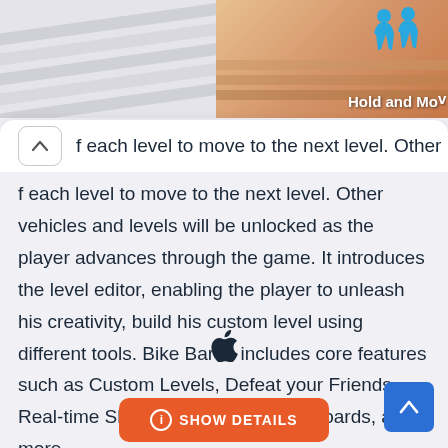[Figure (screenshot): Partial screenshot of a game app page showing 'Hold and Move' label with two blue figure icons on a sandy/brown background]
f each level to move to the next level. Other vehicles and levels will be unlocked as the player advances through the game. It introduces the level editor, enabling the player to unleash his creativity, build his custom level using different tools. Bike Baron includes core features such as Custom Levels, Defeat your Friends, Real-time Shadows, Global Leaderboards, and more.
[Figure (logo): Apple logo icon]
SHOW DETAILS